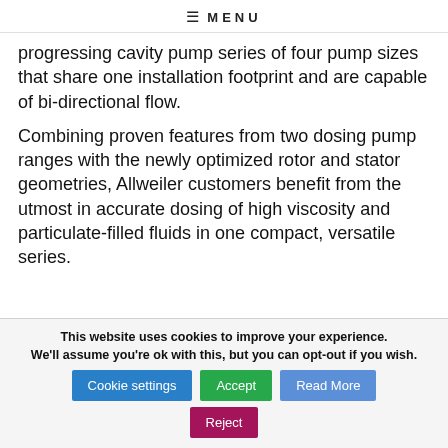≡ MENU
progressing cavity pump series of four pump sizes that share one installation footprint and are capable of bi-directional flow.
Combining proven features from two dosing pump ranges with the newly optimized rotor and stator geometries, Allweiler customers benefit from the utmost in accurate dosing of high viscosity and particulate-filled fluids in one compact, versatile series.
This website uses cookies to improve your experience. We'll assume you're ok with this, but you can opt-out if you wish. [Cookie settings] [Accept] [Read More] [Reject]